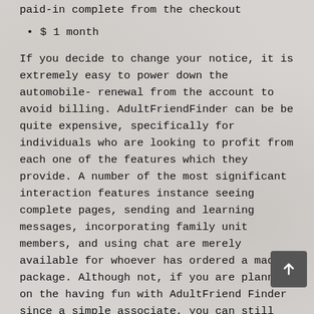paid-in complete from the checkout
$ 1 month
If you decide to change your notice, it is extremely easy to power down the automobile-renewal from the account to avoid billing. AdultFriendFinder can be be quite expensive, specifically for individuals who are looking to profit from each one of the features which they provide. A number of the most significant interaction features instance seeing complete pages, sending and learning messages, incorporating family unit members, and using chat are merely available for whoever has ordered a made package. Although not, if you are planning on the having fun with AdultFriend Finder since a simple associate, you can still find a handful of functions as